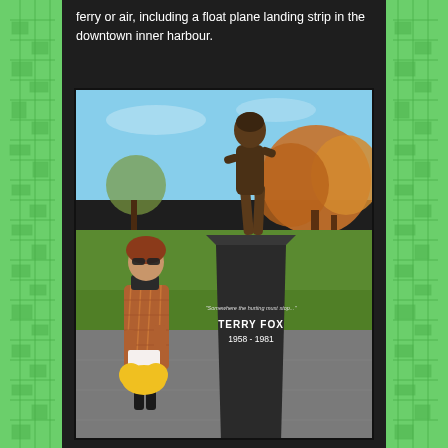ferry or air, including a float plane landing strip in the downtown inner harbour.
[Figure (photo): A woman wearing a plaid coat and sunglasses stands next to the Terry Fox statue. The bronze statue depicts Terry Fox running, mounted on a dark stone pedestal inscribed with 'Somewhere the hurting must stop...' TERRY FOX 1958 - 1981. The photo is taken outdoors with autumn trees and a green lawn in the background.]